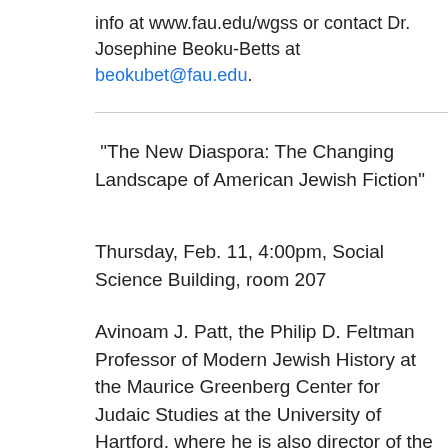info at www.fau.edu/wgss or contact Dr. Josephine Beoku-Betts at beokubet@fau.edu.
"The New Diaspora: The Changing Landscape of American Jewish Fiction"
Thursday, Feb. 11, 4:00pm, Social Science Building, room 207
Avinoam J. Patt, the Philip D. Feltman Professor of Modern Jewish History at the Maurice Greenberg Center for Judaic Studies at the University of Hartford, where he is also director of the Museum of Jewish Civilization. Previously, he worked at the United States Holocaust Memorial Museum. He is